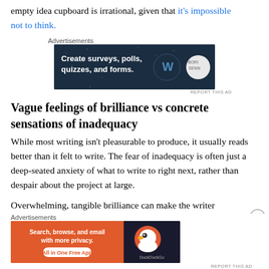empty idea cupboard is irrational, given that it's impossible not to think.
[Figure (screenshot): Advertisement banner for WordPress: 'Create surveys, polls, quizzes, and forms.' on dark navy background with WordPress and SurveyMonkey logos]
Vague feelings of brilliance vs concrete sensations of inadequacy
While most writing isn't pleasurable to produce, it usually reads better than it felt to write. The fear of inadequacy is often just a deep-seated anxiety of what to write to right next, rather than despair about the project at large.
Overwhelming, tangible brilliance can make the writer
[Figure (screenshot): Advertisement banner for DuckDuckGo: 'Search, browse, and email with more privacy. All in One Free App' on orange and dark background with DuckDuckGo logo]